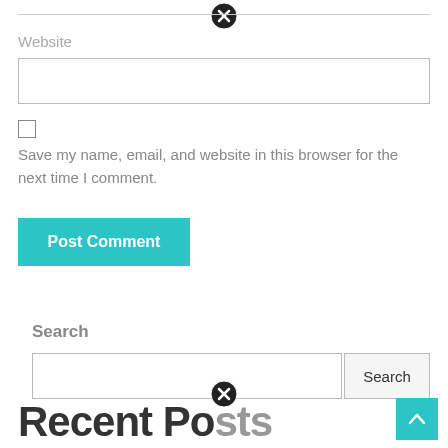[Figure (screenshot): Close/dismiss icon (circled X) at top center of form]
Website
[Figure (screenshot): Empty website text input field with border]
[Figure (screenshot): Unchecked checkbox]
Save my name, email, and website in this browser for the next time I comment.
[Figure (screenshot): Teal 'Post Comment' button]
Search
[Figure (screenshot): Search input field with Search button]
[Figure (screenshot): Teal scroll-to-top arrow button]
[Figure (screenshot): Close/dismiss icon (circled X) at bottom center]
Recent Posts